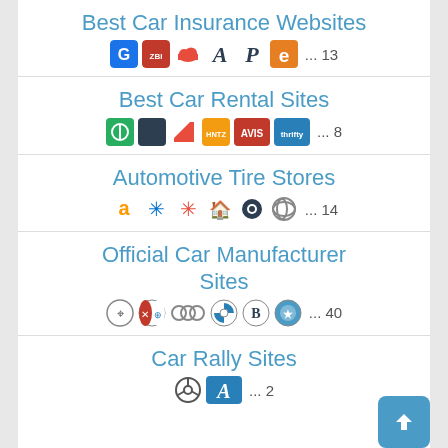Best Car Insurance Websites
Best Car Rental Sites
Automotive Tire Stores
Official Car Manufacturer Sites
Car Rally Sites